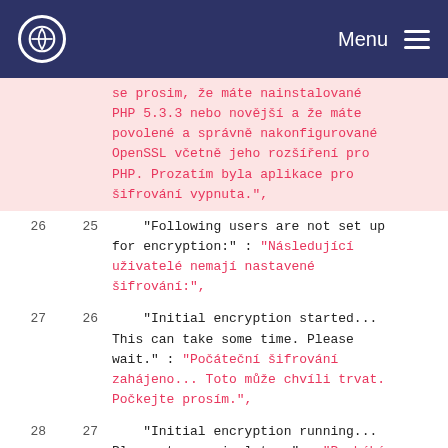Menu
|  |  | se prosim, ze mate nainstalovane PHP 5.3.3 nebo novejsi a ze mate povolene a spravne nakonfigurovane OpenSSL vcetne jeho rozsireni pro PHP. Prozatim byla aplikace pro sifrovani vypnuta.", |
| 26 | 25 | "Following users are not set up for encryption:" : "Nasledujici uzivatele nemaji nastavene sifrovani:", |
| 27 | 26 | "Initial encryption started... This can take some time. Please wait." : "Pocatecni sifrovani zahajeno... Toto muze chvili trvat. Pockejte prosim.", |
| 28 | 27 | "Initial encryption running... Please try again later." : "Probíhá pocatecni sifrovani... Zkuste to prosim znovu pozdeji.", |